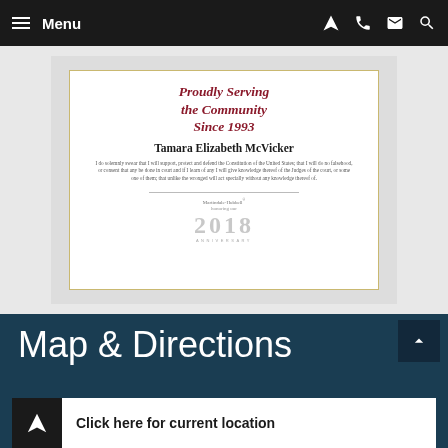Menu
[Figure (illustration): Martindale-Hubbell 2018 Anniversary certificate for Tamara Elizabeth McVicker, with text 'Proudly Serving the Community Since 1993' in dark red, attorney name in bold, oath text, and Martindale-Hubbell 2018 Anniversary logo]
Map & Directions
Click here for current location